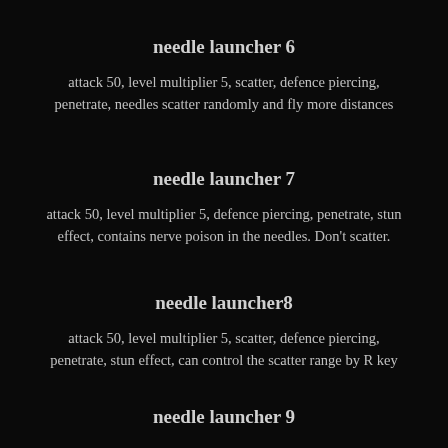needle launcher 6
attack 50, level multiplier 5, scatter, defence piercing, penetrate, needles scatter randomly and fly more distances
needle launcher 7
attack 50, level multiplier 5, defence piercing, penetrate, stun effect, contains nerve poison in the needles. Don't scatter.
needle launcher8
attack 50, level multiplier 5, scatter, defence piercing, penetrate, stun effect, can control the scatter range by R key
needle launcher 9